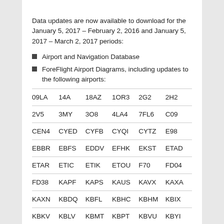Data updates are now available to download for the January 5, 2017 – February 2, 2016 and January 5, 2017 – March 2, 2017 periods:
Airport and Navigation Database
ForeFlight Airport Diagrams, including updates to the following airports:
| 09LA | 14A | 18AZ | 1OR3 | 2G2 | 2H2 |
| 2V5 | 3MY | 3O8 | 4LA4 | 7FL6 | C09 |
| CEN4 | CYED | CYFB | CYQI | CYTZ | E98 |
| EBBR | EBFS | EDDV | EFHK | EKST | ETAD |
| ETAR | ETIC | ETIK | ETOU | F70 | FD04 |
| FD38 | KAPF | KAPS | KAUS | KAVX | KAXA |
| KAXN | KBDQ | KBFL | KBHC | KBHM | KBIX |
| KBKV | KBLV | KBMT | KBPT | KBVU | KBYI |